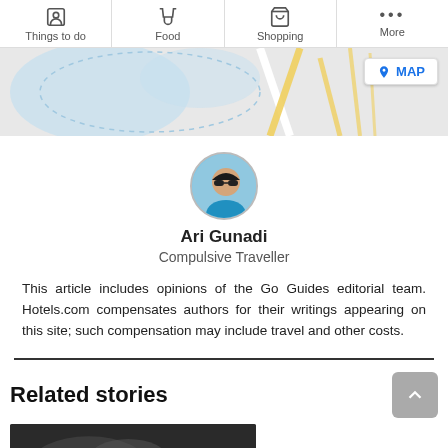Things to do | Food | Shopping | More
[Figure (map): Map tile showing roads and waterways with a MAP button overlay]
[Figure (photo): Circular avatar photo of Ari Gunadi wearing sunglasses]
Ari Gunadi
Compulsive Traveller
This article includes opinions of the Go Guides editorial team. Hotels.com compensates authors for their writings appearing on this site; such compensation may include travel and other costs.
Related stories
[Figure (photo): Bottom partial image strip, dark photo thumbnail]